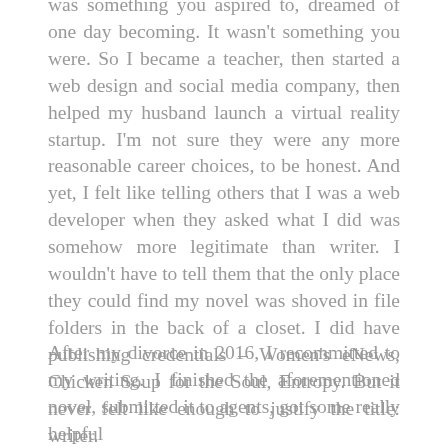was something you aspired to, dreamed of one day becoming. It wasn't something you were. So I became a teacher, then started a web design and social media company, then helped my husband launch a virtual reality startup. I'm not sure they were any more reasonable career choices, to be honest. And yet, I felt like telling others that I was a web developer when they asked what I did was somehow more legitimate than writer. I wouldn't have to tell them that the only place they could find my novel was shoved in file folders in the back of a closet. I did have publishing credentials – Women's eNews, Chicken Soup for the Soul, Entropy. But it never felt like enough to justify the title: writer.
After my divorce in 2016, I recommitted to my writing. I finished the aforementioned novel, submitted it to agents, got some really helpful